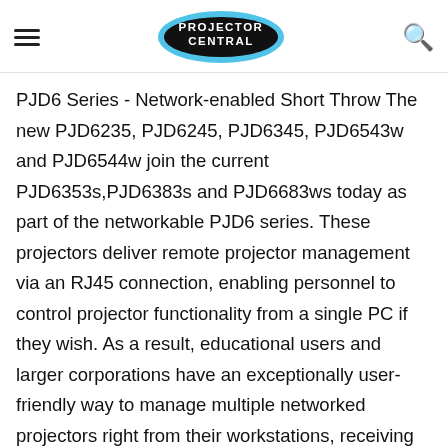PROJECTOR CENTRAL
PJD6 Series - Network-enabled Short Throw The new PJD6235, PJD6245, PJD6345, PJD6543w and PJD6544w join the current PJD6353s,PJD6383s and PJD6683ws today as part of the networkable PJD6 series. These projectors deliver remote projector management via an RJ45 connection, enabling personnel to control projector functionality from a single PC if they wish. As a result, educational users and larger corporations have an exceptionally user-friendly way to manage multiple networked projectors right from their workstations, receiving real-time status email alerts regarding everything from power, lamp life and unit presence. All PJD6 series models come standard with AMX® and Crestron® support, as well as HDMI connectivity for